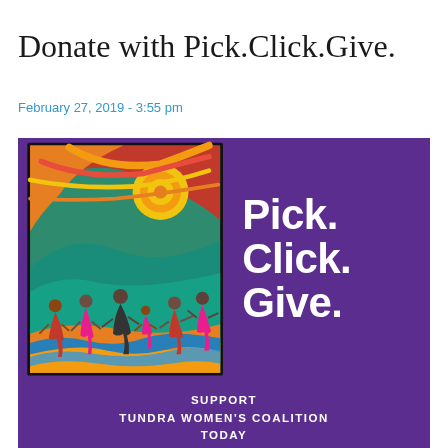Donate with Pick.Click.Give.
February 27, 2019 - 3:55 pm
[Figure (illustration): Pick.Click.Give. promotional poster with purple background. Left side shows colorful indigenous-style artwork of people holding hands in a circle with a bright sun above. Right side shows large white text 'Pick. Click. Give.' Bottom text reads 'SUPPORT TUNDRA WOMEN'S COALITION TODAY']